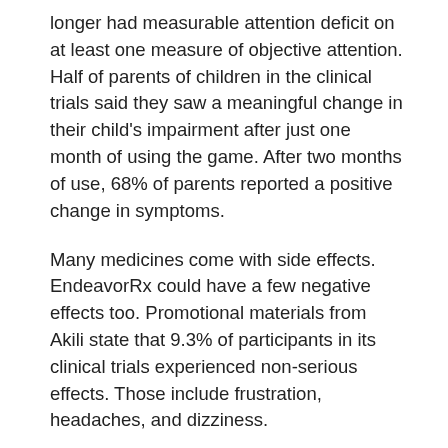longer had measurable attention deficit on at least one measure of objective attention. Half of parents of children in the clinical trials said they saw a meaningful change in their child's impairment after just one month of using the game. After two months of use, 68% of parents reported a positive change in symptoms.
Many medicines come with side effects. EndeavorRx could have a few negative effects too. Promotional materials from Akili state that 9.3% of participants in its clinical trials experienced non-serious effects. Those include frustration, headaches, and dizziness.
Video games tend to have a bad reputation. Some people blame them for causing symptoms like hyperactivity and inattention in kids. Now the FDA says a video game can be a tool for resolving symptoms of hyperactivity and inattention in kids. EndeavorRx appears to be “redeeming” video games for